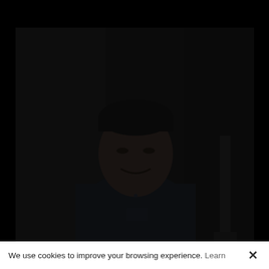[Figure (photo): A dark, dimly lit photograph of a smiling man wearing a dark navy blue shirt, photographed from the waist up against a dark interior background. The image has very low exposure, making most details appear dark.]
We use cookies to improve your browsing experience. Learn ✕